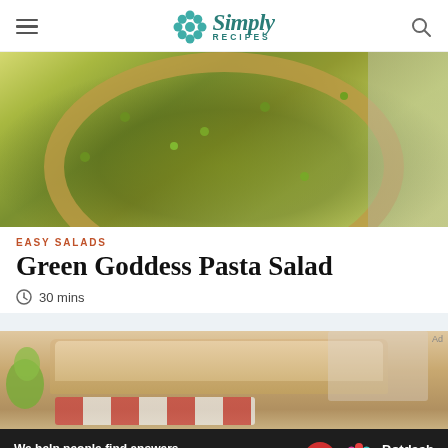Simply Recipes
[Figure (photo): Overhead view of a wooden bowl filled with green goddess pasta salad — shell pasta with peas and asparagus in a bright green herb sauce]
EASY SALADS
Green Goddess Pasta Salad
30 mins
[Figure (photo): Close-up of a sandwich or open-faced bread with a creamy spread, topped with tomato and onion rings, with pickles on the side]
We help people find answers, solve problems and get inspired.
Dotdash meredith